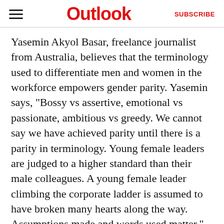Outlook | SUBSCRIBE
Yasemin Akyol Basar, freelance journalist from Australia, believes that the terminology used to differentiate men and women in the workforce empowers gender parity. Yasemin says, "Bossy vs assertive, emotional vs passionate, ambitious vs greedy. We cannot say we have achieved parity until there is a parity in terminology. Young female leaders are judged to a higher standard than their male colleagues. A young female leader climbing the corporate ladder is assumed to have broken many hearts along the way. Assumptions made and words used matter." When we talked to Yasemin about how is the corporate industry changing its policies to provide equal opportunity and employability for genderqueer people? She replied," Social attitudes toward LGBTQi+ community and a